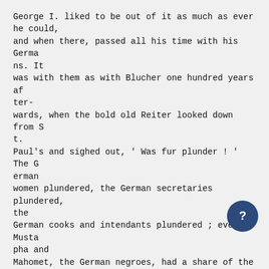George I. liked to be out of it as much as ever he could, and when there, passed all his time with his Germans. It was with them as with Blucher one hundred years after- wards, when the bold old Reiter looked down from St. Paul's and sighed out, ' Was fur plunder ! ' The German women plundered, the German secretaries plundered, the German cooks and intendants plundered ; even Mustapha and Mahomet, the German negroes, had a share of the booty. Take what you can get, was the old monarch's maxim."
There was considerable discontent expressed in the early years of George's reign. Hallam says : " Much his